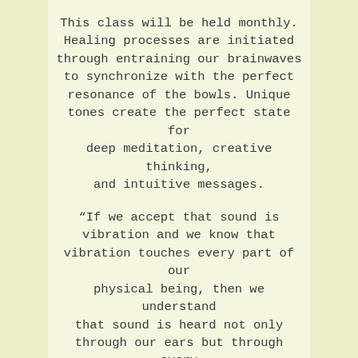This class will be held monthly. Healing processes are initiated through entraining our brainwaves to synchronize with the perfect resonance of the bowls. Unique tones create the perfect state for deep meditation, creative thinking, and intuitive messages.
“If we accept that sound is vibration and we know that vibration touches every part of our physical being, then we understand that sound is heard not only through our ears but through every cell in our bodies. One reason sound heals on a physical level is because it so deeply touches and transforms us on the emotional and spiritual planes. Sound can redress